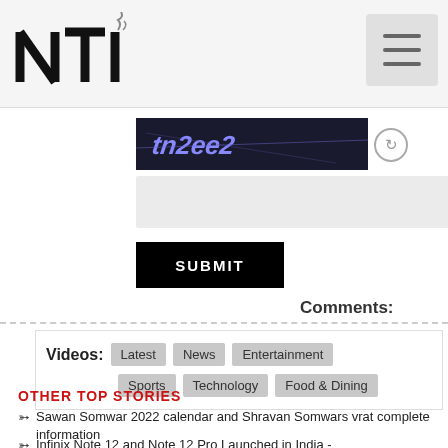NTI logo and navigation
[Figure (screenshot): CAPTCHA image with distorted text on dark background]
SUBMIT
Comments:
Videos: Latest News Entertainment Sports Technology Food & Dining
OTHER TOP STORIES
Sawan Somwar 2022 calendar and Shravan Somwars vrat complete information
Infinix Note 12 and Note 12 Pro Launched in India -